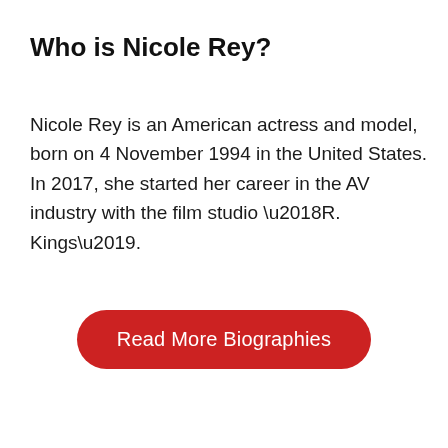Who is Nicole Rey?
Nicole Rey is an American actress and model, born on 4 November 1994 in the United States. In 2017, she started her career in the AV industry with the film studio ‘R. Kings’.
[Figure (other): Red rounded rectangle button with white text reading 'Read More Biographies']